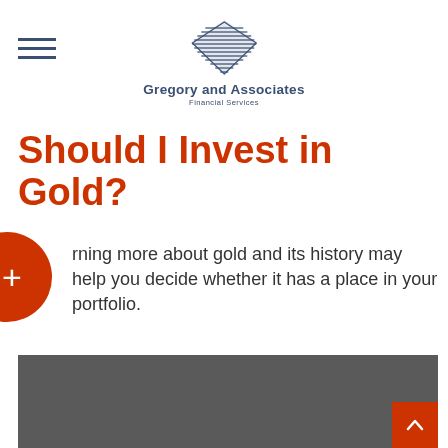Gregory and Associates Financial Services
Should I Invest in Gold?
...rning more about gold and its history may help you decide whether it has a place in your portfolio.
[Figure (photo): Dark gray image section at the bottom of the page with a back-to-top button]